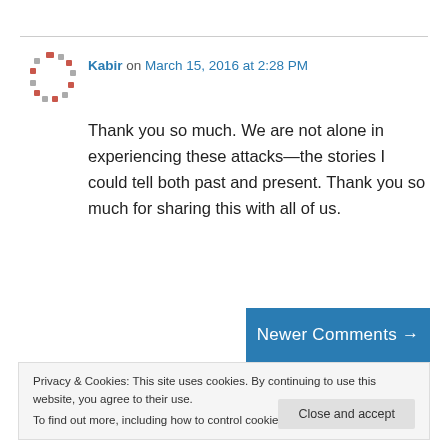[Figure (logo): Red and gray circular mosaic/pattern avatar icon for user Kabir]
Kabir on March 15, 2016 at 2:28 PM
Thank you so much. We are not alone in experiencing these attacks—the stories I could tell both past and present. Thank you so much for sharing this with all of us.
Newer Comments →
Privacy & Cookies: This site uses cookies. By continuing to use this website, you agree to their use.
To find out more, including how to control cookies, see here: Cookie Policy
Close and accept